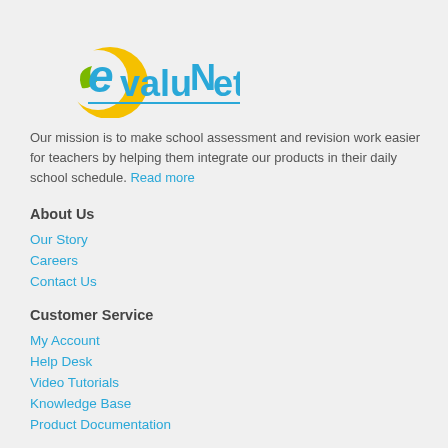[Figure (logo): EvaluNet logo with yellow crescent moon, green leaf/arrow, blue stylized 'e' and 'valuNet' text with underline]
Our mission is to make school assessment and revision work easier for teachers by helping them integrate our products in their daily school schedule. Read more
About Us
Our Story
Careers
Contact Us
Customer Service
My Account
Help Desk
Video Tutorials
Knowledge Base
Product Documentation